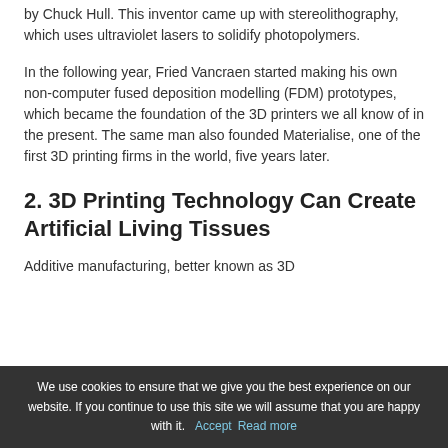by Chuck Hull. This inventor came up with stereolithography, which uses ultraviolet lasers to solidify photopolymers.
In the following year, Fried Vancraen started making his own non-computer fused deposition modelling (FDM) prototypes, which became the foundation of the 3D printers we all know of in the present. The same man also founded Materialise, one of the first 3D printing firms in the world, five years later.
2. 3D Printing Technology Can Create Artificial Living Tissues
Additive manufacturing, better known as 3D
We use cookies to ensure that we give you the best experience on our website. If you continue to use this site we will assume that you are happy with it.  Accept  Read more